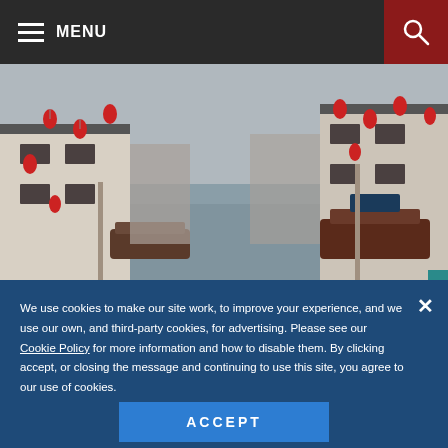MENU
[Figure (photo): A Chinese water town canal scene with traditional white buildings, red lanterns hanging from walls, and wooden boats moored along the waterway on a misty day.]
We use cookies to make our site work, to improve your experience, and we use our own, and third-party cookies, for advertising. Please see our Cookie Policy for more information and how to disable them. By clicking accept, or closing the message and continuing to use this site, you agree to our use of cookies.
ACCEPT